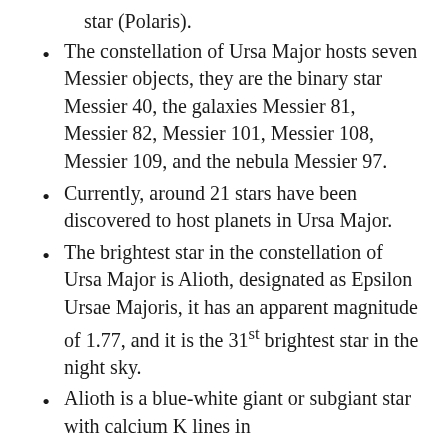star (Polaris).
The constellation of Ursa Major hosts seven Messier objects, they are the binary star Messier 40, the galaxies Messier 81, Messier 82, Messier 101, Messier 108, Messier 109, and the nebula Messier 97.
Currently, around 21 stars have been discovered to host planets in Ursa Major.
The brightest star in the constellation of Ursa Major is Alioth, designated as Epsilon Ursae Majoris, it has an apparent magnitude of 1.77, and it is the 31st brightest star in the night sky.
Alioth is a blue-white giant or subgiant star with calcium K lines in